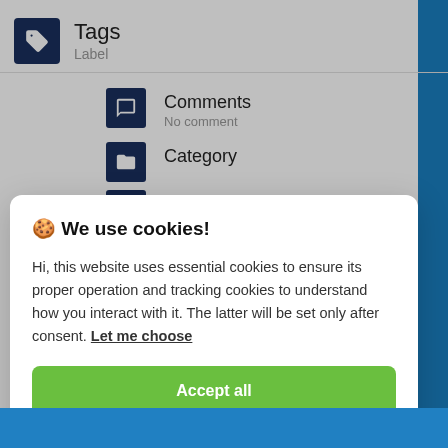[Figure (screenshot): App interface showing Tags/Label section with Comments (No comment), Category, and Date (5/23/2022) menu items with dark navy icons]
🍪 We use cookies!
Hi, this website uses essential cookies to ensure its proper operation and tracking cookies to understand how you interact with it. The latter will be set only after consent. Let me choose
Accept all
Reject all